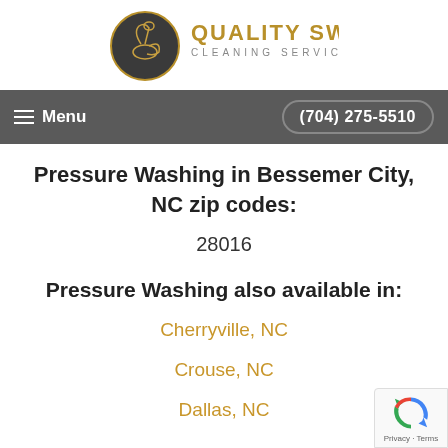[Figure (logo): Quality Swan Cleaning Services logo with swan emblem in gold/dark circle and gold text]
Menu  (704) 275-5510
Pressure Washing in Bessemer City, NC zip codes:
28016
Pressure Washing also available in:
Cherryville, NC
Crouse, NC
Dallas, NC